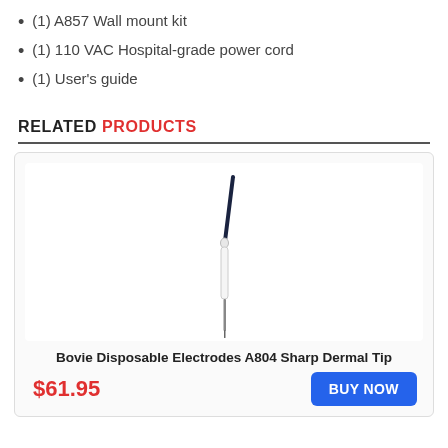(1) A857 Wall mount kit
(1) 110 VAC Hospital-grade power cord
(1) User's guide
RELATED PRODUCTS
[Figure (photo): Bovie Disposable Electrode A804 Sharp Dermal Tip — a surgical electrode with a dark tapered needle tip mounted on a white handle with a thin metal shaft below]
Bovie Disposable Electrodes A804 Sharp Dermal Tip
$61.95
BUY NOW